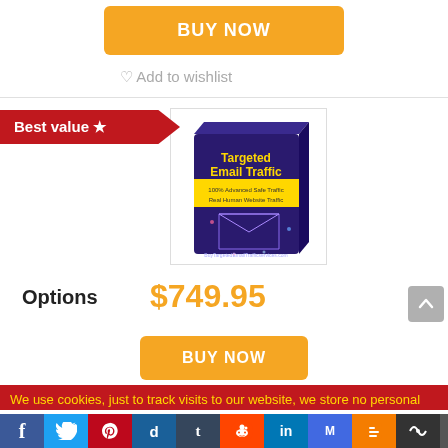BUY NOW
♡ Add to wishlist
Best value ★
[Figure (photo): Product box image for Targeted Email Traffic showing a purple box with yellow banner and geometric email graphic]
Options
$749.95
BUY NOW
We use cookies, just to track visits to our website, we store no personal
[Figure (infographic): Social media sharing bar icons: Facebook, Twitter, Pinterest, Digg, Tumblr, Reddit, LinkedIn, MySpace, Blogger, Newsvine, More]